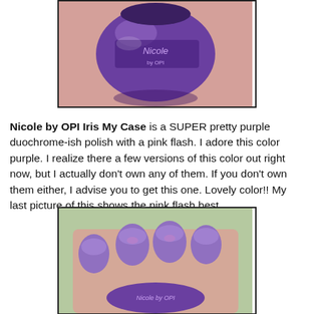[Figure (photo): Close-up photo of a purple Nicole by OPI nail polish bottle label showing the Nicole by OPI branding and purple metallic color.]
Nicole by OPI Iris My Case is a SUPER pretty purple duochrome-ish polish with a pink flash. I adore this color purple. I realize there a few versions of this color out right now, but I actually don't own any of them. If you don't own them either, I advise you to get this one. Lovely color!! My last picture of this shows the pink flash best.
[Figure (photo): Close-up photo of a hand with nails painted in a purple duochrome metallic Nicole by OPI nail polish, holding the polish bottle.]